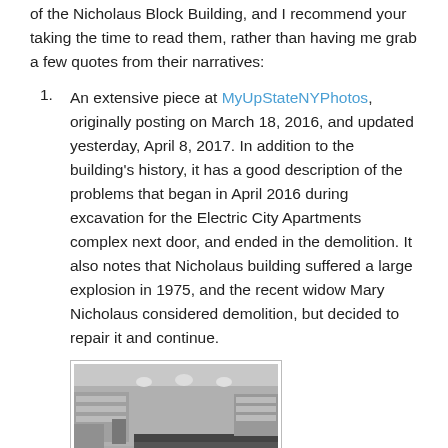of the Nicholaus Block Building, and I recommend your taking the time to read them, rather than having me grab a few quotes from their narratives:
An extensive piece at MyUpStateNYPhotos, originally posting on March 18, 2016, and updated yesterday, April 8, 2017. In addition to the building's history, it has a good description of the problems that began in April 2016 during excavation for the Electric City Apartments complex next door, and ended in the demolition. It also notes that Nicholaus building suffered a large explosion in 1975, and the recent widow Mary Nicholaus considered demolition, but decided to repair it and continue.
[Figure (photo): Black and white vintage photograph of the interior of a shop or restaurant, showing a long counter with bar stools, pendant lights, and shelving along the walls.]
2.